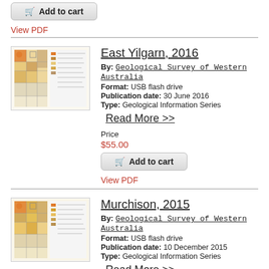Add to cart
View PDF
East Yilgarn, 2016
By: Geological Survey of Western Australia
Format: USB flash drive
Publication date: 30 June 2016
Type: Geological Information Series
Read More >>
Price
$55.00
Add to cart
View PDF
Murchison, 2015
By: Geological Survey of Western Australia
Format: USB flash drive
Publication date: 10 December 2015
Type: Geological Information Series
Read More >>